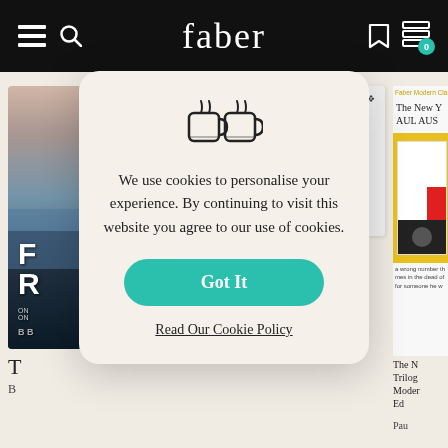faber
[Figure (screenshot): Faber website background with book covers: a beach scene book on the left, a book with text 'A naive parole officer. A convicted murderer. What could go wrong?' in the center, and a partially visible Faber Modern Classics book on the right]
[Figure (other): Cookie consent modal dialog with cookie/mug icon, text about cookies policy, a teal 'Got It' button, and a 'Read Our Cookie Policy' link]
We use cookies to personalise your experience. By continuing to visit this website you agree to our use of cookies.
Got It
Read Our Cookie Policy